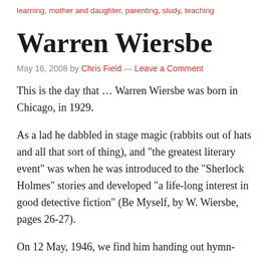learning, mother and daughter, parenting, study, teaching
Warren Wiersbe
May 16, 2008 by Chris Field — Leave a Comment
This is the day that … Warren Wiersbe was born in Chicago, in 1929.
As a lad he dabbled in stage magic (rabbits out of hats and all that sort of thing), and “the greatest literary event” was when he was introduced to the “Sherlock Holmes” stories and developed “a life-long interest in good detective fiction” (Be Myself, by W. Wiersbe, pages 26-27).
On 12 May, 1946, we find him handing out hymn-